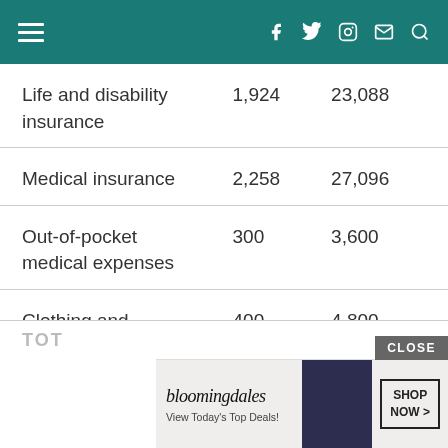Navigation bar with menu icon and social icons
|  |  |  |
| --- | --- | --- |
| Life and disability insurance | 1,924 | 23,088 |
| Medical insurance | 2,258 | 27,096 |
| Out-of-pocket medical expenses | 300 | 3,600 |
| Clothing and footwear | 400 | 4,800 |
TOT…
[Figure (screenshot): Bloomingdale's advertisement banner: 'View Today's Top Deals!' with SHOP NOW button and model photo]